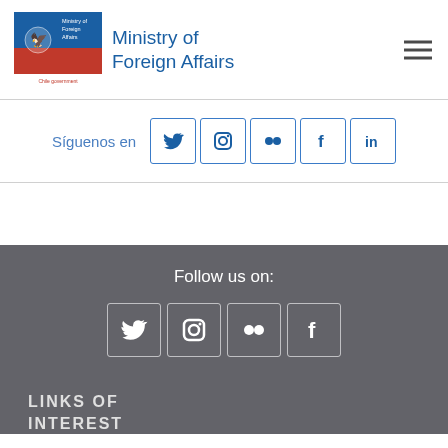[Figure (logo): Chile government Ministry of Foreign Affairs logo — flag colors red and blue with coat of arms, text 'Ministry of Foreign Affairs' and 'Chile government']
Ministry of Foreign Affairs
Síguenos en
[Figure (infographic): Social media icons row (top bar): Twitter, Instagram, Flickr, Facebook, LinkedIn — each in a bordered square button, blue on white]
[Figure (infographic): Follow us on: label with social media icons row (footer): Twitter, Instagram, Flickr, Facebook — white icons on dark grey background]
LINKS OF INTEREST